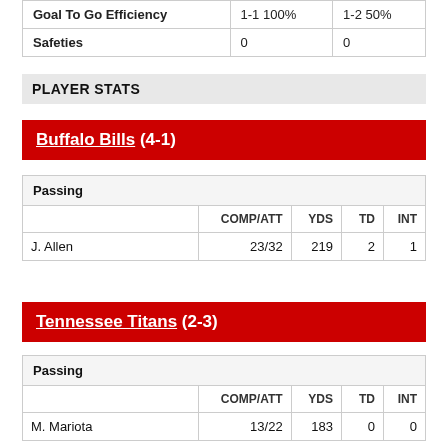|  |  |  |
| --- | --- | --- |
| Goal To Go Efficiency | 1-1 100% | 1-2 50% |
| Safeties | 0 | 0 |
PLAYER STATS
Buffalo Bills (4-1)
| Passing |  |  |  |  |
| --- | --- | --- | --- | --- |
|  | COMP/ATT | YDS | TD | INT |
| J. Allen | 23/32 | 219 | 2 | 1 |
Tennessee Titans (2-3)
| Passing |  |  |  |  |
| --- | --- | --- | --- | --- |
|  | COMP/ATT | YDS | TD | INT |
| M. Mariota | 13/22 | 183 | 0 | 0 |